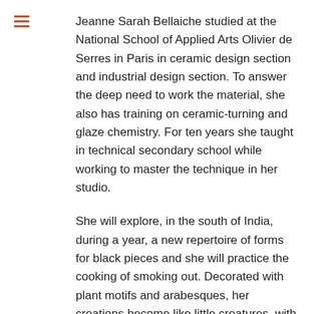Jeanne Sarah Bellaiche studied at the National School of Applied Arts Olivier de Serres in Paris in ceramic design section and industrial design section. To answer the deep need to work the material, she also has training on ceramic-turning and glaze chemistry. For ten years she taught in technical secondary school while working to master the technique in her studio.
She will explore, in the south of India, during a year, a new repertoire of forms for black pieces and she will practice the cooking of smoking out. Decorated with plant motifs and arabesques, her creations become like little creatures, with an inside and an outside, an appearance and a dark face, a skin and an interiority.